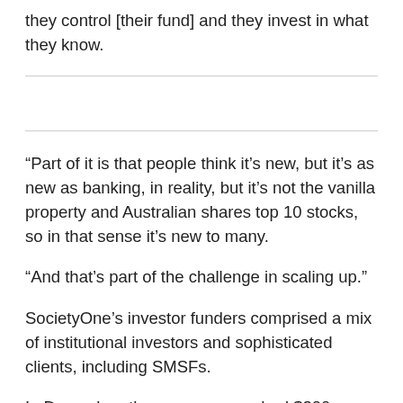they control [their fund] and they invest in what they know.
“Part of it is that people think it’s new, but it’s as new as banking, in reality, but it’s not the vanilla property and Australian shares top 10 stocks, so in that sense it’s new to many.
“And that’s part of the challenge in scaling up.”
SocietyOne’s investor funders comprised a mix of institutional investors and sophisticated clients, including SMSFs.
In December, the company reached $200 million in total lending since inception.